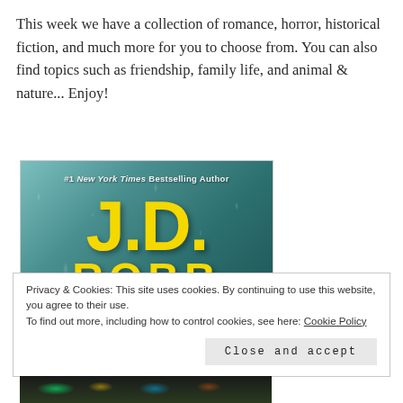This week we have a collection of romance, horror, historical fiction, and much more for you to choose from. You can also find topics such as friendship, family life, and animal & nature... Enjoy!
[Figure (photo): Book cover showing '#1 New York Times Bestselling Author J.D. ROBB' on a teal/blue-green condensation-covered background with large yellow text]
Privacy & Cookies: This site uses cookies. By continuing to use this website, you agree to their use.
To find out more, including how to control cookies, see here: Cookie Policy
Close and accept
[Figure (photo): Partial bottom image showing dark scene with colorful lights]